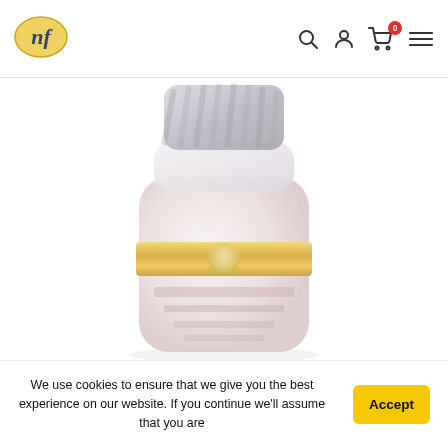[Figure (logo): nf brand logo in golden oval shape with stylized nf letters]
[Figure (photo): Blurred supplement/vitamin bottle with gold band and striped cap on white background]
We use cookies to ensure that we give you the best experience on our website. If you continue we'll assume that you are